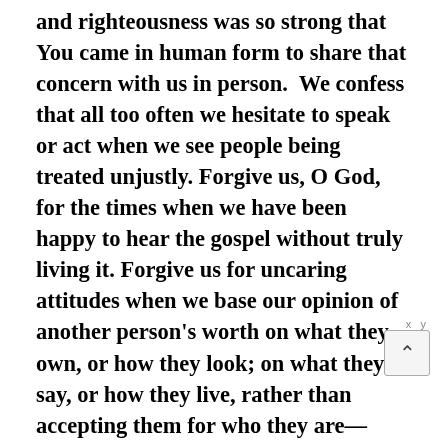and righteousness was so strong that You came in human form to share that concern with us in person.  We confess that all too often we hesitate to speak or act when we see people being treated unjustly. Forgive us, O God, for the times when we have been happy to hear the gospel without truly living it. Forgive us for uncaring attitudes when we base our opinion of another person's worth on what they own, or how they look; on what they say, or how they live, rather than accepting them for who they are—people made in Your image. Forgive us when our longing to live simply and with humility is defeated by selfish desires—for pursuing profits before